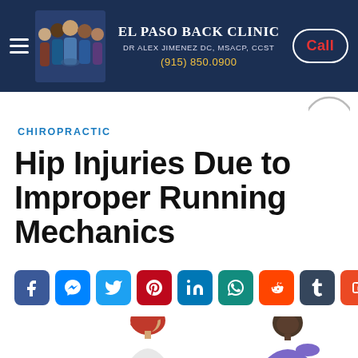El Paso Back Clinic | Dr Alex Jimenez DC, MSACP, CCST | (915) 850.0900 | Call
CHIROPRACTIC
Hip Injuries Due to Improper Running Mechanics
[Figure (infographic): Row of social media share buttons: Facebook, Messenger, Twitter, Pinterest, LinkedIn, WhatsApp, Reddit, Tumblr, StumbleUpon]
[Figure (photo): Two people with back/hip pain: a woman with red hair in white clothing facing left, and a man in purple shirt bent over holding his lower back]